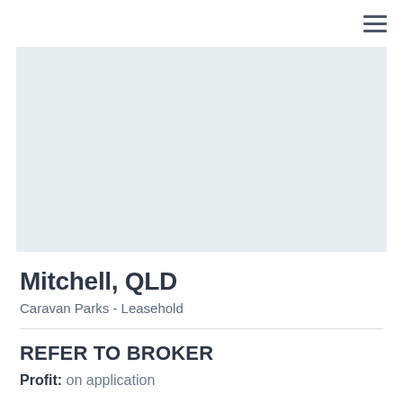[Figure (screenshot): Navigation bar with hamburger menu icon in top right corner]
[Figure (photo): Light grey placeholder image area for property listing photo]
Mitchell, QLD
Caravan Parks - Leasehold
REFER TO BROKER
Profit: on application